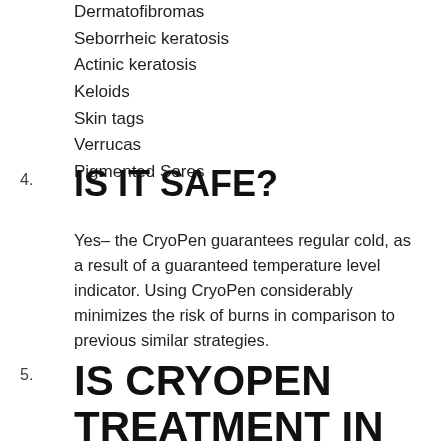Dermatofibromas
Seborrheic keratosis
Actinic keratosis
Keloids
Skin tags
Verrucas
Pigmented Sores
4. IS IT SAFE?
Yes– the CryoPen guarantees regular cold, as a result of a guaranteed temperature level indicator. Using CryoPen considerably minimizes the risk of burns in comparison to previous similar strategies.
5. IS CRYOPEN TREATMENT IN Perth PAINFUL?